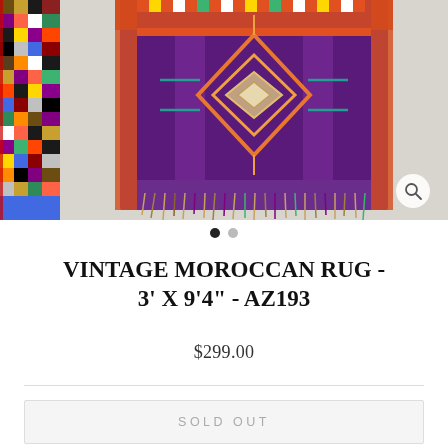[Figure (photo): Two Moroccan rugs displayed. Left: narrow colorful patchwork rug thumbnail. Right: main image of a vintage Moroccan rug with geometric diamond pattern in purple, orange, red, blue on a light background with fringe at bottom. Zoom icon (magnifying glass) in bottom right corner of main image.]
VINTAGE MOROCCAN RUG - 3' X 9'4" - AZ193
$299.00
SOLD OUT